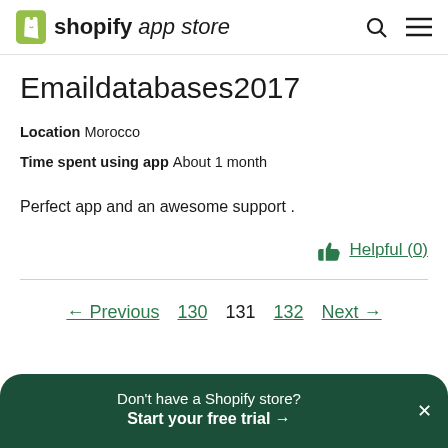shopify app store
Emaildatabases2017
Location  Morocco
Time spent using app  About 1 month
Perfect app and an awesome support .
Helpful (0)
← Previous  130  131  132  Next →
Don't have a Shopify store?
Start your free trial →